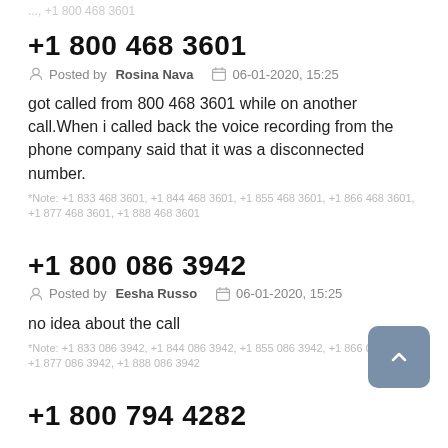...  · 1 800 468 3601
+1 800 468 3601
Posted by Rosina Nava   06-01-2020, 15:25
got called from 800 468 3601 while on another call.When i called back the voice recording from the phone company said that it was a disconnected number.
*Note: +1 833 468 3601, +1 844 468 3601, +1 855 468 3601, +1 866 468 3601, +1 877 468 3601, +1 888 468 3601
+1 800 086 3942
Posted by Eesha Russo   06-01-2020, 15:25
no idea about the call
*Note: +1 833 086 3942, +1 844 086 3942, +1 855 086 3942, +1 866 086 3942, +1 877 086 3942, +1 888 086 3942
+1 800 794 4282